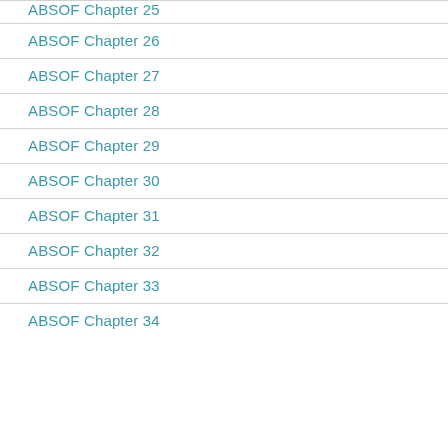ABSOF Chapter 25
ABSOF Chapter 26
ABSOF Chapter 27
ABSOF Chapter 28
ABSOF Chapter 29
ABSOF Chapter 30
ABSOF Chapter 31
ABSOF Chapter 32
ABSOF Chapter 33
ABSOF Chapter 34